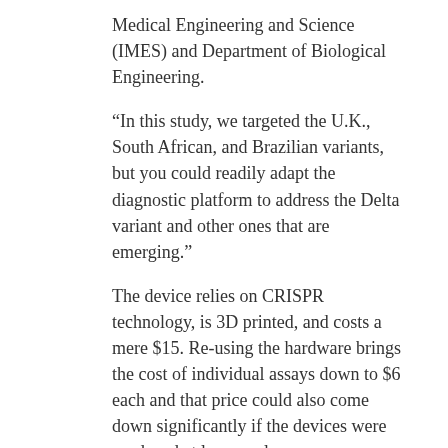Medical Engineering and Science (IMES) and Department of Biological Engineering.
“In this study, we targeted the U.K., South African, and Brazilian variants, but you could readily adapt the diagnostic platform to address the Delta variant and other ones that are emerging.”
The device relies on CRISPR technology, is 3D printed, and costs a mere $15. Re-using the hardware brings the cost of individual assays down to $6 each and that price could also come down significantly if the devices were produced at large scale.
“miSHERLOCK eliminates the need to transport patient samples to a centralized testing location and greatly simplifies the sample preparation steps, giving patients and doctors a faster, more accurate picture of individual and community health, which is critical during an evolving pandemic,” said co-first author Helena de